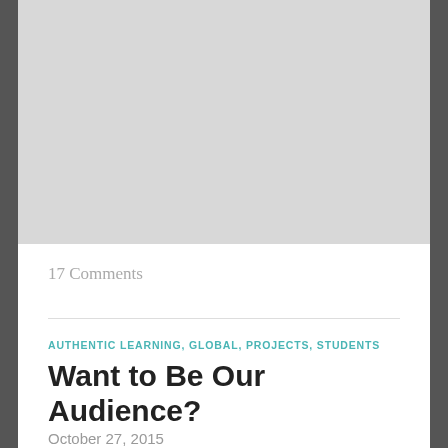17 Comments
AUTHENTIC LEARNING, GLOBAL, PROJECTS, STUDENTS
Want to Be Our Audience?
October 27, 2015
My fantastic 7th graders are working on short